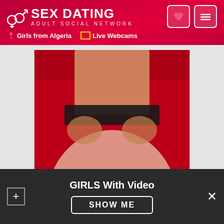SEX DATING ADULT SOCIAL NETWORK | Girls from Algeria | Live Webcams
[Figure (photo): Adult ad image on red background]
Share this Ad
[Figure (infographic): Social share buttons: Facebook, Twitter, Google+, LinkedIn]
GIRLS With Video
SHOW ME